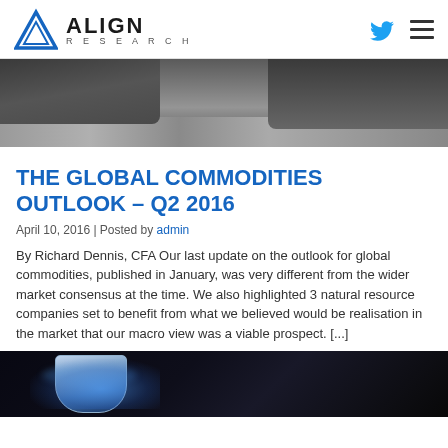ALIGN RESEARCH
[Figure (photo): Mining equipment and gravel/ore at a mining site, trucks visible]
THE GLOBAL COMMODITIES OUTLOOK – Q2 2016
April 10, 2016 | Posted by admin
By Richard Dennis, CFA Our last update on the outlook for global commodities, published in January, was very different from the wider market consensus at the time. We also highlighted 3 natural resource companies set to benefit from what we believed would be realisation in the market that our macro view was a viable prospect. [...]
[Figure (photo): Close-up of a space or scientific instrument with blue glow against dark background]